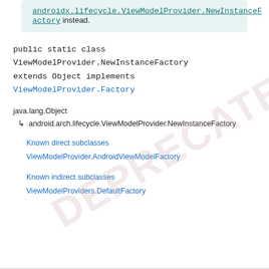androidx.lifecycle.ViewModelProvider.NewInstanceFactory instead.
public static class ViewModelProvider.NewInstanceFactory extends Object implements ViewModelProvider.Factory
java.lang.Object
  ↳ android.arch.lifecycle.ViewModelProvider.NewInstanceFactory
Known direct subclasses
ViewModelProvider.AndroidViewModelFactory
Known indirect subclasses
ViewModelProviders.DefaultFactory